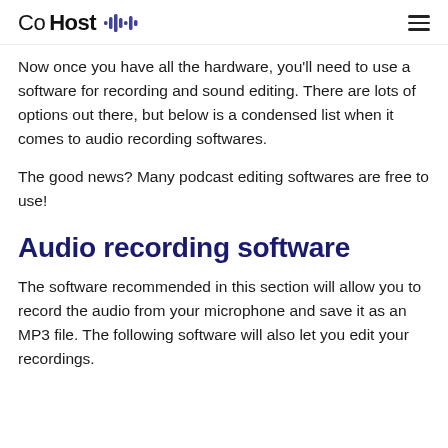CoHost (logo with waveform icon) and hamburger menu
Now once you have all the hardware, you'll need to use a software for recording and sound editing. There are lots of options out there, but below is a condensed list when it comes to audio recording softwares.
The good news? Many podcast editing softwares are free to use!
Audio recording software
The software recommended in this section will allow you to record the audio from your microphone and save it as an MP3 file. The following software will also let you edit your recordings.